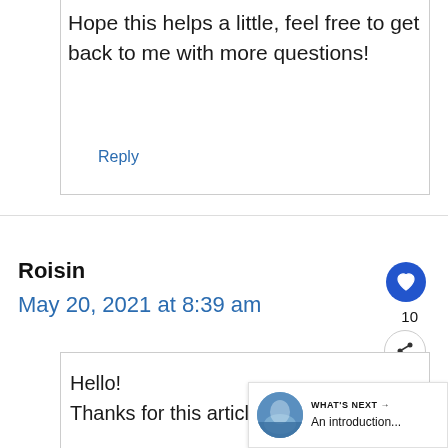Hope this helps a little, feel free to get back to me with more questions!
Reply
Roisin
May 20, 2021 at 8:39 am
Hello!
Thanks for this article, I found